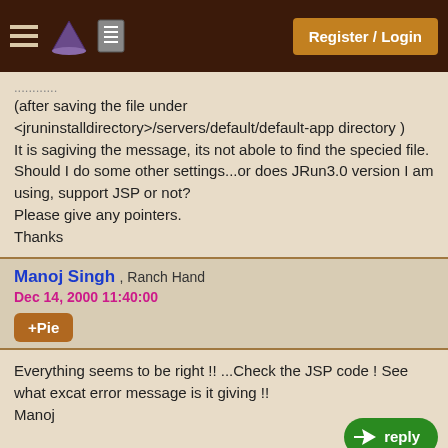Register / Login
............
(after saving the file under <jruninstalldirectory>/servers/default/default-app directory )
It is sagiving the message, its not abole to find the specied file.
Should I do some other settings...or does JRun3.0 version I am using, support JSP or not?
Please give any pointers.
Thanks
Manoj Singh , Ranch Hand
Dec 14, 2000 11:40:00
+Pie
Everything seems to be right !! ...Check the JSP code ! See what excat error message is it giving !!
Manoj
Bala Krishniah , Ranch Hand